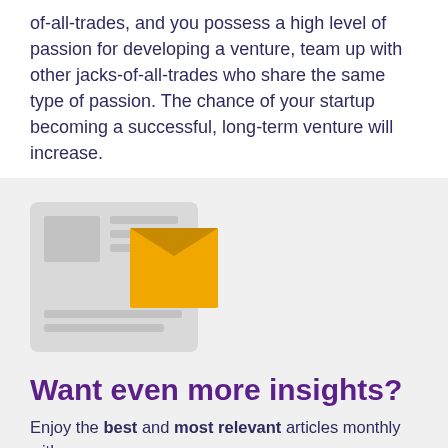of-all-trades, and you possess a high level of passion for developing a venture, team up with other jacks-of-all-trades who share the same type of passion. The chance of your startup becoming a successful, long-term venture will increase.
[Figure (illustration): Illustration of a document/newsletter with a golden envelope icon overlapping it, on a light grey background.]
Want even more insights?
Enjoy the best and most relevant articles monthly with a